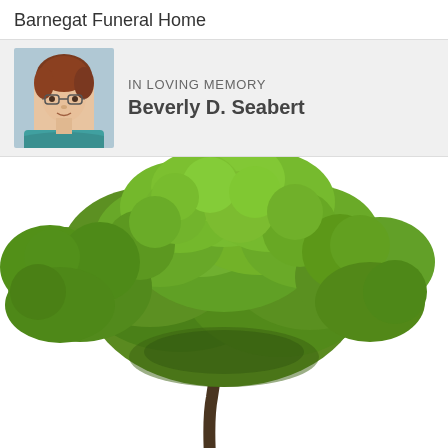Barnegat Funeral Home
IN LOVING MEMORY
Beverly D. Seabert
[Figure (photo): Portrait photo of Beverly D. Seabert, a woman with reddish-brown hair and glasses, wearing a teal/blue top, shown from shoulders up]
[Figure (photo): Large green deciduous tree with full canopy on white background, photographed from below and slightly to the side, trunk visible at bottom center]